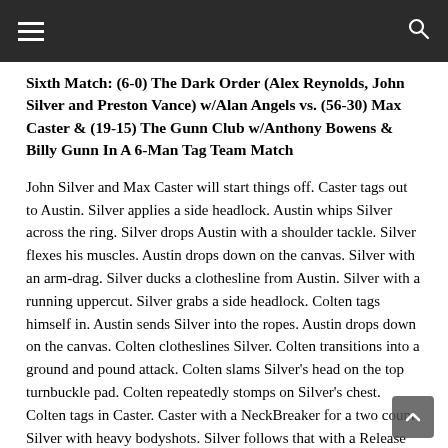≡  🔍
Sixth Match: (6-0) The Dark Order (Alex Reynolds, John Silver and Preston Vance) w/Alan Angels vs. (56-30) Max Caster & (19-15) The Gunn Club w/Anthony Bowens & Billy Gunn In A 6-Man Tag Team Match
John Silver and Max Caster will start things off. Caster tags out to Austin. Silver applies a side headlock. Austin whips Silver across the ring. Silver drops Austin with a shoulder tackle. Silver flexes his muscles. Austin drops down on the canvas. Silver with an arm-drag. Silver ducks a clothesline from Austin. Silver with a running uppercut. Silver grabs a side headlock. Colten tags himself in. Austin sends Silver into the ropes. Austin drops down on the canvas. Colten clotheslines Silver. Colten transitions into a ground and pound attack. Colten slams Silver's head on the top turnbuckle pad. Colten repeatedly stomps on Silver's chest. Colten tags in Caster. Caster with a NeckBreaker for a two count. Silver with heavy bodyshots. Silver follows that with a Release German Suplex. Caster tags in Colten. Colten kicks Silver in the ribs. Colten